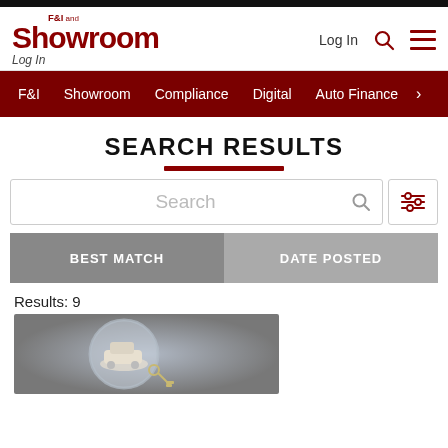F&I and Showroom — Log In | Search | Menu
F&I | Showroom | Compliance | Digital | Auto Finance
SEARCH RESULTS
Search
BEST MATCH | DATE POSTED
Results: 9
[Figure (photo): A car model under a magnifying glass with keys, on a gray background]